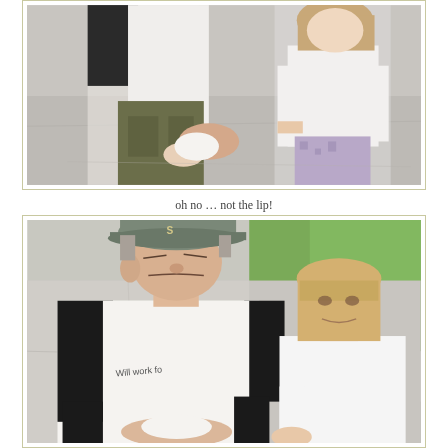[Figure (photo): A person in a white and black shirt and olive green shorts holding something in their hands, with a young girl in a white long-sleeve shirt and purple patterned pants standing beside them on a gray pavement surface.]
oh no … not the lip!
[Figure (photo): A middle-aged man wearing a gray baseball cap and a black and white raglan shirt reading 'Will work fo...' looking down with a slight grimace, standing next to a young girl with blonde hair wearing a white shirt, both outdoors on a sidewalk with green grass visible in the background.]